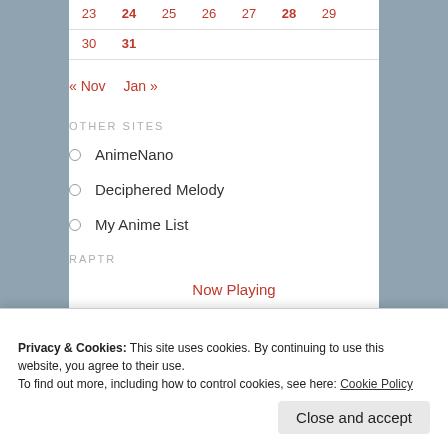| 23 | 24 | 25 | 26 | 27 | 28 | 29 |
| 30 | 31 |  |  |  |  |  |
« Nov   Jan »
OTHER SITES
AnimeNano
Deciphered Melody
My Anime List
RAPTR
Now Playing
Privacy & Cookies: This site uses cookies. By continuing to use this website, you agree to their use.
To find out more, including how to control cookies, see here: Cookie Policy